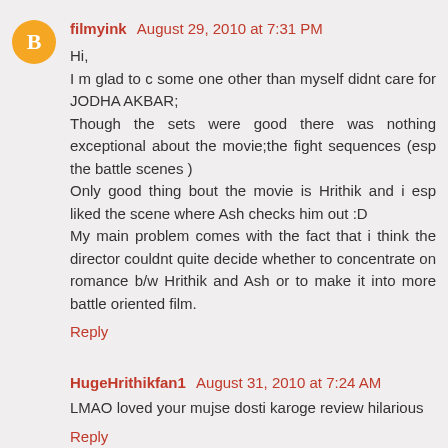filmyink August 29, 2010 at 7:31 PM
Hi,
I m glad to c some one other than myself didnt care for JODHA AKBAR;
Though the sets were good there was nothing exceptional about the movie;the fight sequences (esp the battle scenes )
Only good thing bout the movie is Hrithik and i esp liked the scene where Ash checks him out :D
My main problem comes with the fact that i think the director couldnt quite decide whether to concentrate on romance b/w Hrithik and Ash or to make it into more battle oriented film.
Reply
HugeHrithikfan1 August 31, 2010 at 7:24 AM
LMAO loved your mujse dosti karoge review hilarious
Reply